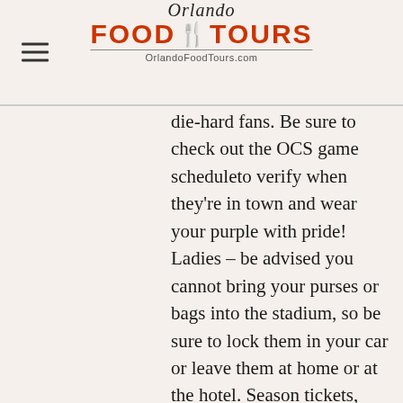Orlando Food Tours — OrlandoFoodTours.com
die-hard fans. Be sure to check out the OCS game scheduleto verify when they're in town and wear your purple with pride! Ladies – be advised you cannot bring your purses or bags into the stadium, so be sure to lock them in your car or leave them at home or at the hotel. Season tickets, single game tickets, group tickets, and premium seating are all available! Ticket prices vary. Painting with a Twist – Winter Park: https://www.paintingwithatwist.com/winter-park/ Want to knock back a few glasses of wine but tired of